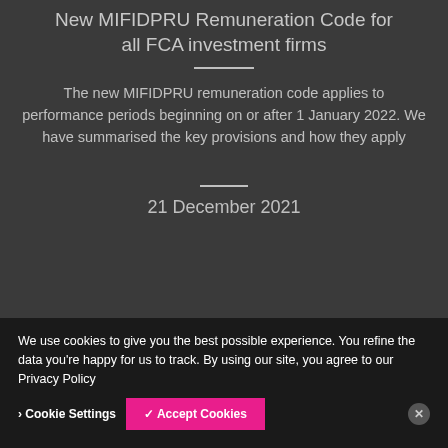New MIFIDPRU Remuneration Code for all FCA investment firms
The new MIFIDPRU remuneration code applies to performance periods beginning on or after 1 January 2022. We have summarised the key provisions and how they apply
21 December 2021
We use cookies to give you the best possible experience. You refine the data you're happy for us to track. By using our site, you agree to our Privacy Policy